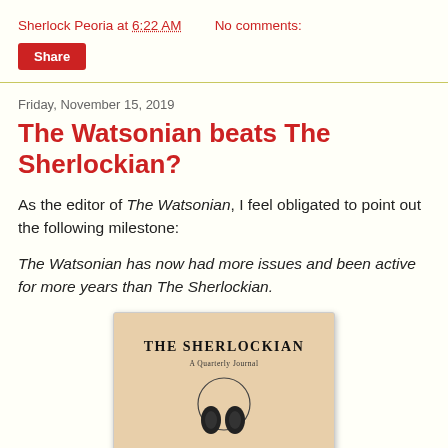Sherlock Peoria at 6:22 AM   No comments:
Share
Friday, November 15, 2019
The Watsonian beats The Sherlockian?
As the editor of The Watsonian, I feel obligated to point out the following milestone:
The Watsonian has now had more issues and been active for more years than The Sherlockian.
[Figure (photo): Cover of The Sherlockian journal, a beige/tan colored cover with bold text reading THE SHERLOCKIAN, subtitle A Quarterly Journal, and a circular emblem with what appears to be a silhouette.]